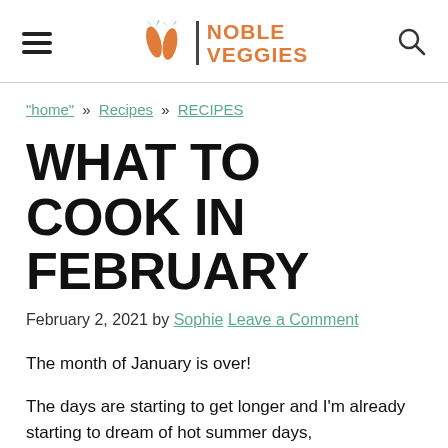Noble Veggies
"home" » Recipes » RECIPES
WHAT TO COOK IN FEBRUARY
February 2, 2021 by Sophie Leave a Comment
The month of January is over!
The days are starting to get longer and I'm already starting to dream of hot summer days,